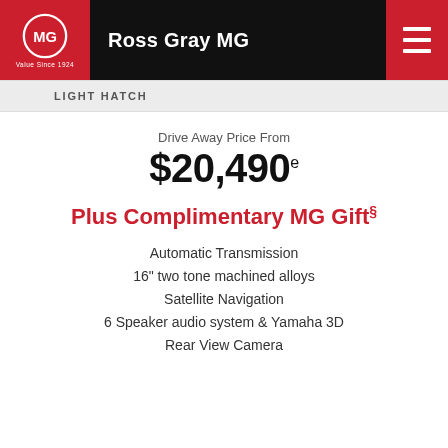Ross Gray MG
LIGHT HATCH
Drive Away Price From
$20,490e
Plus Complimentary MG Gift§
Automatic Transmission
16" two tone machined alloys
Satellite Navigation
6 Speaker audio system & Yamaha 3D
Rear View Camera